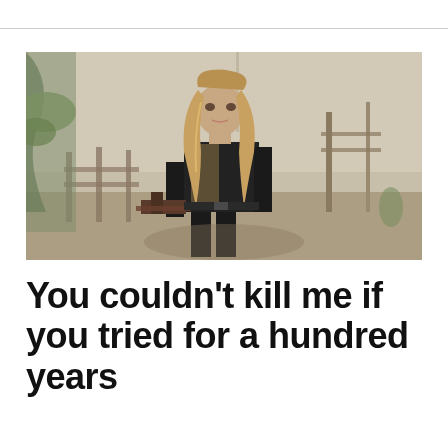[Figure (illustration): A 3D rendered female character with long blonde hair wearing black clothing and holding a crossbow, standing in a post-apocalyptic outdoor scene with wooden fences, bare trees, and a misty background.]
You couldn't kill me if you tried for a hundred years